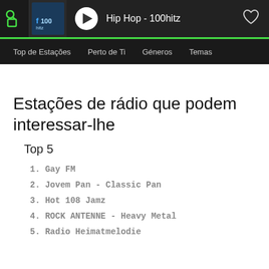[Figure (screenshot): Top player bar with green logo, 100hitz station thumbnail, play button, 'Hip Hop - 100hitz' now playing text, and heart icon]
Top de Estações   Perto de Ti   Géneros   Temas
Estações de rádio que podem interessar-lhe
Top 5
1. Gay FM
2. Jovem Pan - Classic Pan
3. Hot 108 Jamz
4. ROCK ANTENNE - Heavy Metal
5. Radio Heimatmelodie